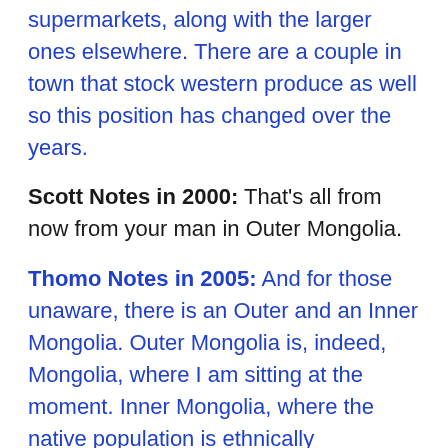supermarkets, along with the larger ones elsewhere. There are a couple in town that stock western produce as well so this position has changed over the years.
Scott Notes in 2000: That's all from now from your man in Outer Mongolia.
Thomo Notes in 2005: And for those unaware, there is an Outer and an Inner Mongolia. Outer Mongolia is, indeed, Mongolia, where I am sitting at the moment. Inner Mongolia, where the native population is ethnically Mongolian, is in China and is one of those special regions the Chinese have a fondness for. I have visited Erlian in that region. One thing I can say positively for that region is that is maintains to some extent, the use of the old Mongolian script. Mongolia itself uses a Cyrillic script. See the picture at right of a shop sign from Erlian.